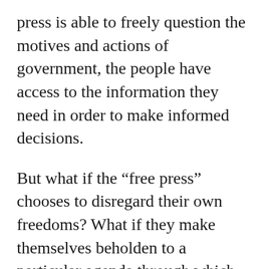press is able to freely question the motives and actions of government, the people have access to the information they need in order to make informed decisions.
But what if the “free press” chooses to disregard their own freedoms? What if they make themselves beholden to a particular agenda through which they are prompted to support government “recommended” narratives? At that point, the “free press” falls just shy of being a state-run propaganda machine, and that scenario is actually worse than if they simply went all